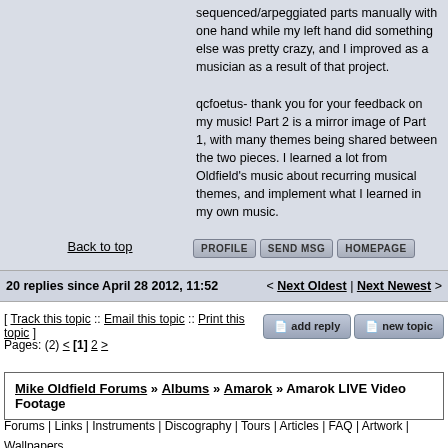sequenced/arpeggiated parts manually with one hand while my left hand did something else was pretty crazy, and I improved as a musician as a result of that project.

qcfoetus- thank you for your feedback on my music! Part 2 is a mirror image of Part 1, with many themes being shared between the two pieces. I learned a lot from Oldfield's music about recurring musical themes, and implement what I learned in my own music.
Back to top
PROFILE  SEND MSG  HOMEPAGE
20 replies since April 28 2012, 11:52    < Next Oldest | Next Newest >
[ Track this topic :: Email this topic :: Print this topic ]
Pages: (2) < [1] 2 >
Mike Oldfield Forums » Albums » Amarok » Amarok LIVE Video Footage
Forums | Links | Instruments | Discography | Tours | Articles | FAQ | Artwork | Wallpapers Biography | Gallery | Videos | MIDI / Ringtones | Tabs | Lyrics | Books | Sitemap | Contact